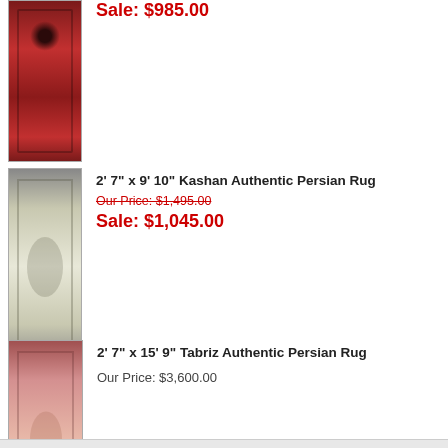[Figure (photo): Partial view of a red Persian rug runner with ornate floral pattern]
Sale: $985.00
[Figure (photo): Gray/cream Kashan authentic Persian rug with central medallion floral design]
2' 7" x 9' 10" Kashan Authentic Persian Rug
Our Price: $1,495.00
Sale: $1,045.00
[Figure (photo): Pink/rose Tabriz authentic Persian rug runner with geometric medallion pattern]
2' 7" x 15' 9" Tabriz Authentic Persian Rug
Our Price: $3,600.00